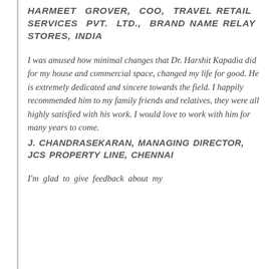HARMEET GROVER, COO, TRAVEL RETAIL SERVICES PVT. LTD., BRAND NAME RELAY STORES, INDIA
I was amused how minimal changes that Dr. Harshit Kapadia did for my house and commercial space, changed my life for good. He is extremely dedicated and sincere towards the field. I happily recommended him to my family friends and relatives, they were all highly satisfied with his work. I would love to work with him for many years to come.
J. CHANDRASEKARAN, MANAGING DIRECTOR, JCS PROPERTY LINE, CHENNAI
I'm glad to give feedback about my